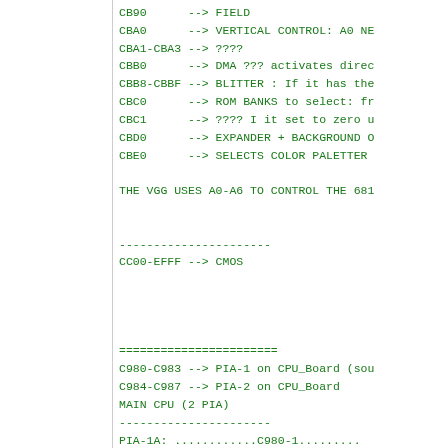CB90      --> FIELD
CBA0      --> VERTICAL CONTROL: A0 NE
CBA1-CBA3 --> ????
CBB0      --> DMA ??? activates direc
CBB8-CBBF --> BLITTER : If it has the
CBC0      --> ROM BANKS to select: fr
CBC1      --> ???? I it set to zero u
CBD0      --> EXPANDER + BACKGROUND O
CBE0      --> SELECTS COLOR PALETTER

THE VGG USES A0-A6 TO CONTROL THE 681

----------------------
CC00-EFFF --> CMOS




=======================
C980-C983 --> PIA-1 on CPU_Board (sou
C984-C987 --> PIA-2 on CPU_Board
MAIN CPU (2 PIA)
----------------------
PIA-1A: ............C980-1.........
   0 AUTO-UP